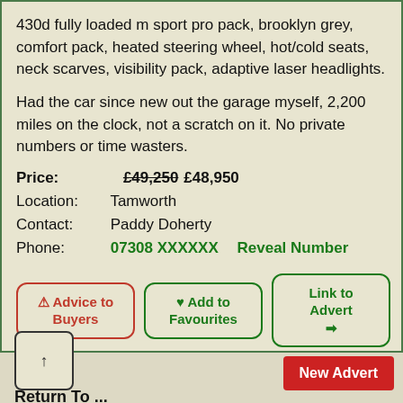430d fully loaded m sport pro pack, brooklyn grey, comfort pack, heated steering wheel, hot/cold seats, neck scarves, visibility pack, adaptive laser headlights.
Had the car since new out the garage myself, 2,200 miles on the clock, not a scratch on it. No private numbers or time wasters.
Price: £49,250 £48,950
Location: Tamworth
Contact: Paddy Doherty
Phone: 07308 XXXXXX   Reveal Number
[Figure (screenshot): Three buttons: Advice to Buyers (red border), Add to Favourites (green border with heart), Link to Advert (green border with arrow). Below is a Facebook Share button.]
[Figure (other): QR code placeholder box with upward arrow]
New Advert
Return To ...